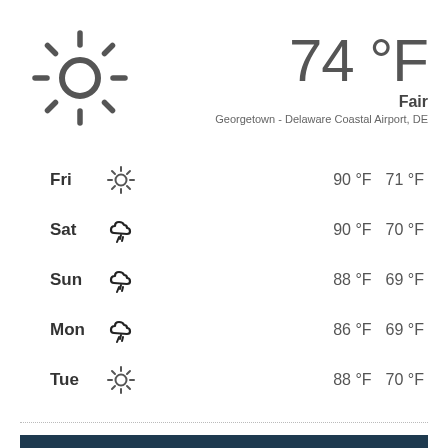[Figure (illustration): Sun icon — large circle with radiating dashes around it indicating sunshine]
74 °F
Fair
Georgetown - Delaware Coastal Airport, DE
Fri — sunny — 90 °F  71 °F
Sat — thunderstorm — 90 °F  70 °F
Sun — thunderstorm — 88 °F  69 °F
Mon — thunderstorm — 86 °F  69 °F
Tue — sunny — 88 °F  70 °F
| KNOW BEFORE YOU GO | UPDATED: MAY 9, 2022 @ 11:49 AM |
| --- | --- |
| BERMUDA FIELD 5 |  |
|  |  |
BERMUDA FIELD 5